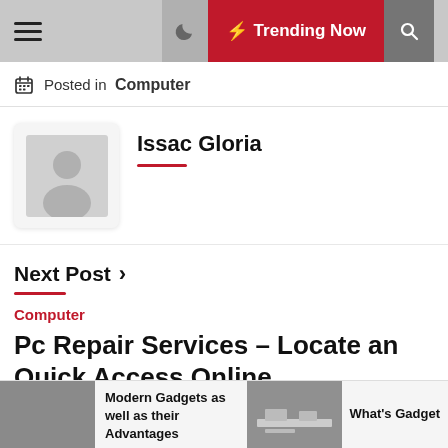Trending Now
Posted in Computer
Issac Gloria
Next Post ›
Computer
Pc Repair Services – Locate an Quick Access Online
Modern Gadgets as well as their Advantages
What's Gadget